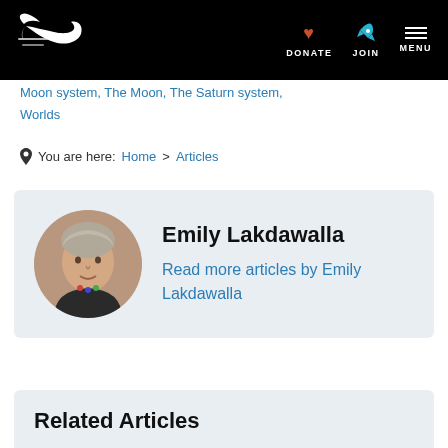Planetary Society navigation bar with logo, DONATE, JOIN, MENU
Moon system, The Moon, The Saturn system, Worlds
You are here: Home > Articles
Emily Lakdawalla
Read more articles by Emily Lakdawalla
Related Articles